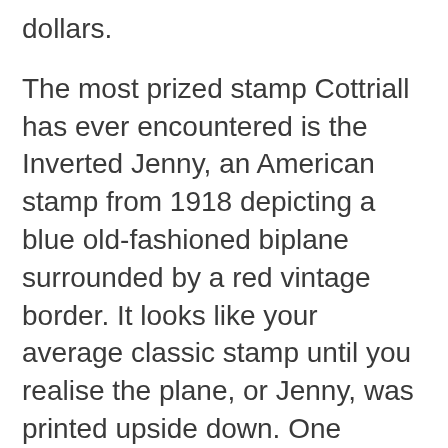dollars.
The most prized stamp Cottriall has ever encountered is the Inverted Jenny, an American stamp from 1918 depicting a blue old-fashioned biplane surrounded by a red vintage border. It looks like your average classic stamp until you realise the plane, or Jenny, was printed upside down. One hundred examples slipped through the printers, each worth at least $100,000 today, depending on condition.
“I looked at it under a magnifying glass and was like, ‘Wow, this is the value of a house!’” Cottriall recalled.
Quality is paramount. Generally, a mint